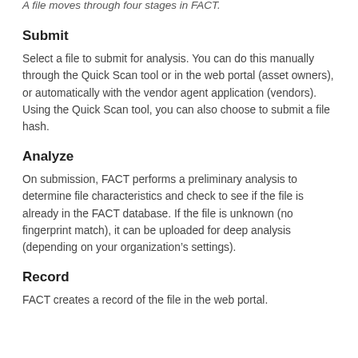A file moves through four stages in FACT.
Submit
Select a file to submit for analysis. You can do this manually through the Quick Scan tool or in the web portal (asset owners), or automatically with the vendor agent application (vendors). Using the Quick Scan tool, you can also choose to submit a file hash.
Analyze
On submission, FACT performs a preliminary analysis to determine file characteristics and check to see if the file is already in the FACT database. If the file is unknown (no fingerprint match), it can be uploaded for deep analysis (depending on your organization’s settings).
Record
FACT creates a record of the file in the web portal.